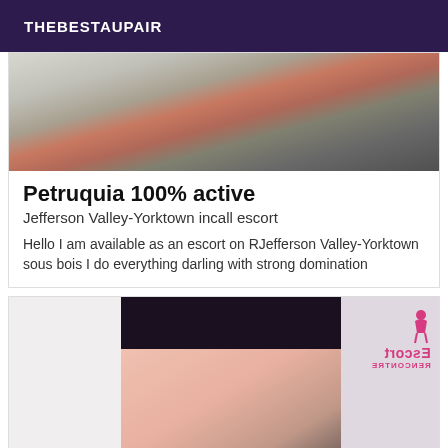THEBESTAUPAIR
[Figure (photo): Blurry bathroom/shelf photo used as card top image]
Petruquia 100% active
Jefferson Valley-Yorktown incall escort
Hello I am available as an escort on RJefferson Valley-Yorktown sous bois I do everything darling with strong domination
[Figure (photo): Photo of person's torso in dark clothing with Escort Rencontre watermark logo in upper right corner]